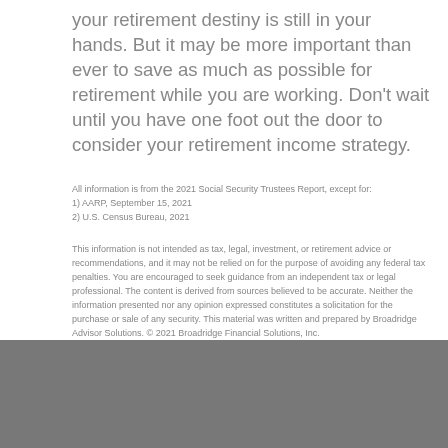your retirement destiny is still in your hands. But it may be more important than ever to save as much as possible for retirement while you are working. Don't wait until you have one foot out the door to consider your retirement income strategy.
All information is from the 2021 Social Security Trustees Report, except for:
1) AARP, September 15, 2021
2) U.S. Census Bureau, 2021
This information is not intended as tax, legal, investment, or retirement advice or recommendations, and it may not be relied on for the purpose of avoiding any federal tax penalties. You are encouraged to seek guidance from an independent tax or legal professional. The content is derived from sources believed to be accurate. Neither the information presented nor any opinion expressed constitutes a solicitation for the purchase or sale of any security. This material was written and prepared by Broadridge Advisor Solutions. © 2021 Broadridge Financial Solutions, Inc.